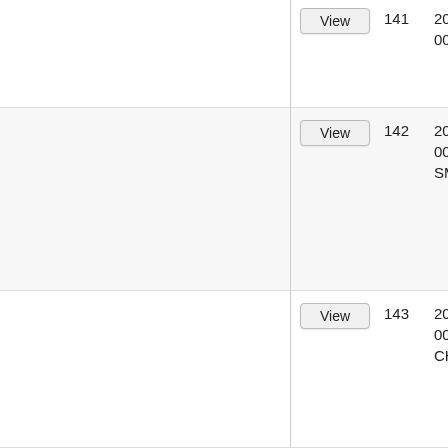| Action | ID | Reference | Name |
| --- | --- | --- | --- |
| View | 141 | 2012-EGG-RU-0001-FOTIEVA | Alexandra |
| View | 142 | 2012-EGG-RU-0001-SMILINGUIS | Anatolij |
| View | 143 | 2012-EGG-RU-0001-CHARYPOVA | Jaroslava |